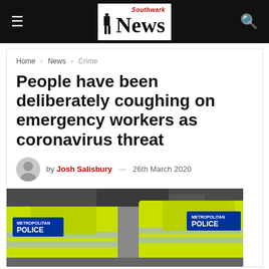Southwark News
Home > News > Crime
People have been deliberately coughing on emergency workers as coronavirus threat
by Josh Salisbury — 26th March 2020
[Figure (photo): Two Metropolitan Police officers in high-visibility yellow jackets viewed from behind, with 'METROPOLITAN POLICE' text visible on their backs]